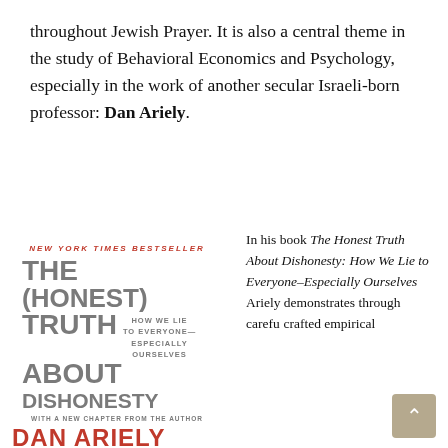throughout Jewish Prayer. It is also a central theme in the study of Behavioral Economics and Psychology, especially in the work of another secular Israeli-born professor: Dan Ariely.
[Figure (photo): Book cover of 'The (Honest) Truth About Dishonesty: How We Lie to Everyone—Especially Ourselves' by Dan Ariely, labeled as a New York Times Bestseller, with a new chapter from the author. Red and gray typography on white background.]
In his book The Honest Truth About Dishonesty: How We Lie to Everyone–Especially Ourselves Ariely demonstrates through carefully crafted empirical